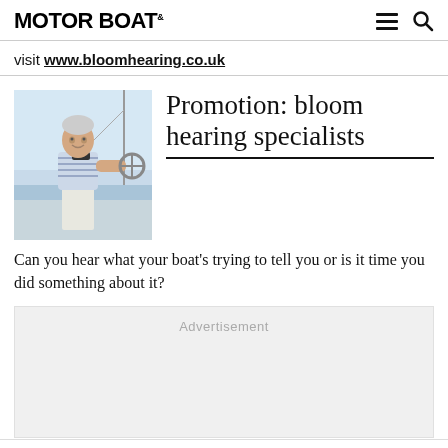MOTOR BOAT &
visit www.bloomhearing.co.uk
[Figure (photo): Older man in striped shirt at the helm of a boat on the water]
Promotion: bloom hearing specialists
Can you hear what your boat's trying to tell you or is it time you did something about it?
Advertisement